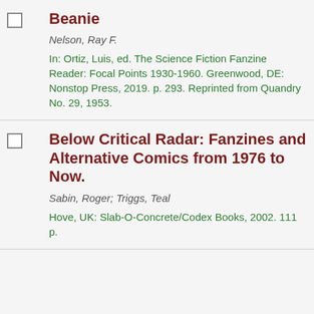Beanie
Nelson, Ray F.
In: Ortiz, Luis, ed. The Science Fiction Fanzine Reader: Focal Points 1930-1960. Greenwood, DE: Nonstop Press, 2019. p. 293. Reprinted from Quandry No. 29, 1953.
Below Critical Radar: Fanzines and Alternative Comics from 1976 to Now.
Sabin, Roger; Triggs, Teal
Hove, UK: Slab-O-Concrete/Codex Books, 2002. 111 p.